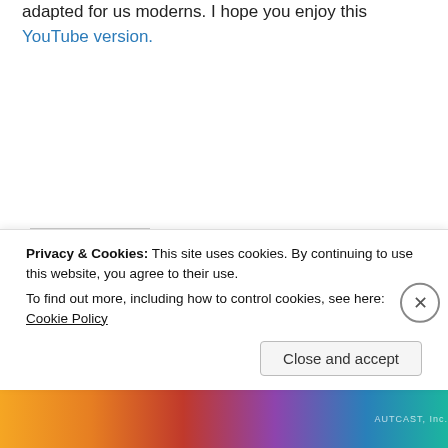adapted for us moderns. I hope you enjoy this YouTube version.
Rate this: ★★★★★ ℹ 2 Votes
Shout About It:
[Figure (screenshot): Social sharing buttons row 1: Print, LinkedIn Share, Tweet]
[Figure (screenshot): Social sharing buttons row 2: Tumblr Post, Email, Pocket (0), Pinterest Save]
Privacy & Cookies: This site uses cookies. By continuing to use this website, you agree to their use.
To find out more, including how to control cookies, see here: Cookie Policy
Close and accept
[Figure (illustration): Colorful decorative banner at the bottom of the page]